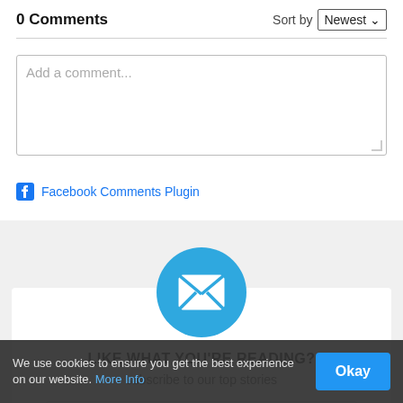0 Comments
Sort by Newest
Add a comment...
Facebook Comments Plugin
[Figure (infographic): Blue circular email icon with envelope/X symbol inside]
LIKE WHAT YOU'RE READING?
subscribe to our top stories
Your email address
We use cookies to ensure you get the best experience on our website. More Info
Okay